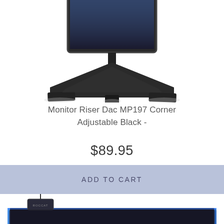[Figure (photo): Monitor on a black corner monitor riser stand (DAC MP197), top portion visible, cropped at top of page]
Monitor Riser Dac MP197 Corner Adjustable Black -
$89.95
ADD TO CART
[Figure (photo): Black gaming mouse pad with blue LED lighting edge and a small USB dongle/device on top left corner, partially visible at bottom of page]